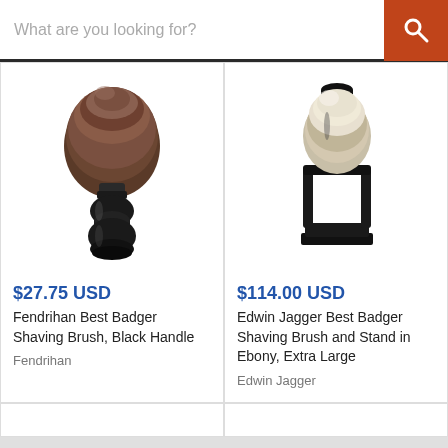What are you looking for?
[Figure (photo): Fendrihan Best Badger Shaving Brush with black handle on white background]
$27.75 USD
Fendrihan Best Badger Shaving Brush, Black Handle
Fendrihan
[Figure (photo): Edwin Jagger Best Badger Shaving Brush and Stand in Ebony, Extra Large on white background]
$114.00 USD
Edwin Jagger Best Badger Shaving Brush and Stand in Ebony, Extra Large
Edwin Jagger